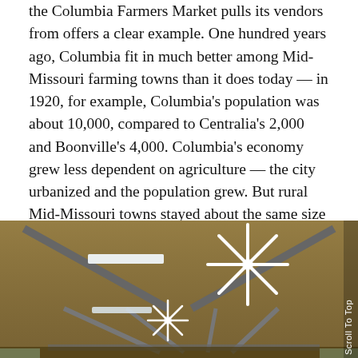the Columbia Farmers Market pulls its vendors from offers a clear example. One hundred years ago, Columbia fit in much better among Mid-Missouri farming towns than it does today — in 1920, for example, Columbia's population was about 10,000, compared to Centralia's 2,000 and Boonville's 4,000. Columbia's economy grew less dependent on agriculture — the city urbanized and the population grew. But rural Mid-Missouri towns stayed about the same size — Centralia's population is still under 5,000, and Boonville's population is still under 10,000.
[Figure (photo): Interior view of what appears to be a farmers market pavilion or large open-air structure. The ceiling has large ceiling fans with white blades arranged in a starburst/snowflake pattern. Structural beams and fluorescent light fixtures are visible. The ceiling is a warm tan/brown color. People and market stalls are faintly visible at the bottom.]